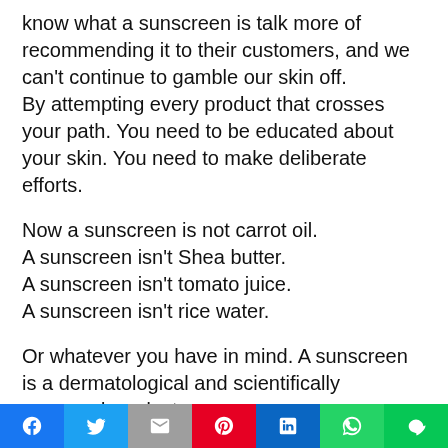know what a sunscreen is talk more of recommending it to their customers, and we can't continue to gamble our skin off. By attempting every product that crosses your path. You need to be educated about your skin. You need to make deliberate efforts.
Now a sunscreen is not carrot oil. A sunscreen isn't Shea butter. A sunscreen isn't tomato juice. A sunscreen isn't rice water.
Or whatever you have in mind. A sunscreen is a dermatological and scientifically approved product
[social share bar: Facebook, Twitter, Gmail, Pinterest, LinkedIn, WhatsApp, LINE]